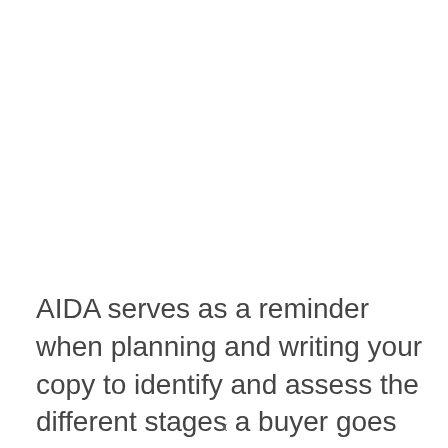AIDA serves as a reminder when planning and writing your copy to identify and assess the different stages a buyer goes through
x